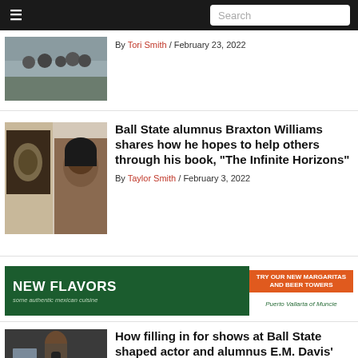≡  Search
By Tori Smith / February 23, 2022
[Figure (photo): Group of people outdoors in a field]
[Figure (photo): Ball State alumnus Braxton Williams with book cover 'The Infinite Horizons']
Ball State alumnus Braxton Williams shares how he hopes to help others through his book, "The Infinite Horizons"
By Taylor Smith / February 3, 2022
[Figure (illustration): Advertisement: NEW FLAVORS - some authentic mexican cuisine / TRY OUR NEW MARGARITAS AND BEER TOWERS / Puerto Vallarta of Muncie]
[Figure (photo): Person at a radio studio microphone]
How filling in for shows at Ball State shaped actor and alumnus E.M. Davis' career